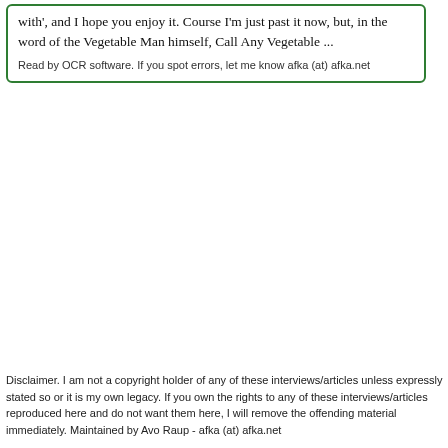with', and I hope you enjoy it. Course I'm just past it now, but, in the words of the Vegetable Man himself, Call Any Vegetable ...
Read by OCR software. If you spot errors, let me know afka (at) afka.net
Disclaimer. I am not a copyright holder of any of these interviews/articles unless expressly stated so or it is my own legacy. If you own the rights to any of these interviews/articles reproduced here and do not want them here, I will remove the offending material immediately. Maintained by Avo Raup - afka (at) afka.net